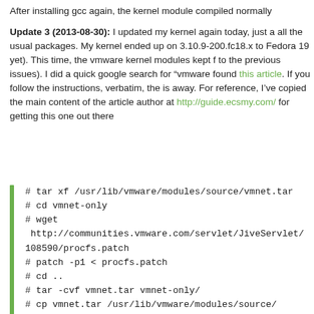After installing gcc again, the kernel module compiled normally
Update 3 (2013-08-30): I updated my kernel again today, just a all the usual packages. My kernel ended up on 3.10.9-200.fc18.x to Fedora 19 yet). This time, the vmware kernel modules kept f to the previous issues). I did a quick google search for "vmware found this article. If you follow the instructions, verbatim, the is away. For reference, I've copied the main content of the article author at http://guide.ecsmy.com/ for getting this one out there
# tar xf /usr/lib/vmware/modules/source/vmnet.tar
# cd vmnet-only
# wget  http://communities.vmware.com/servlet/JiveServlet/108590/procfs.patch
# patch -p1 < procfs.patch
# cd ..
# tar -cvf vmnet.tar vmnet-only/
# cp vmnet.tar /usr/lib/vmware/modules/source/

This will patch the procfs interface.